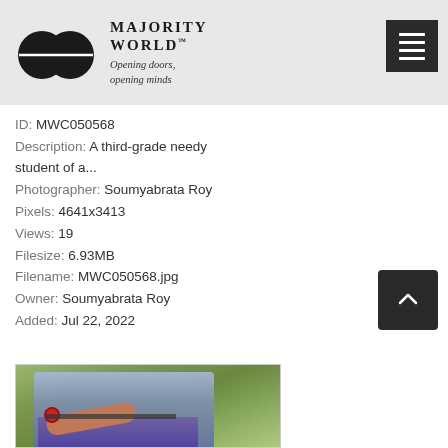[Figure (logo): Majority World logo: two overlapping black circles with a horizontal white line, alongside brand name 'MAJORITY WORLD™' and tagline 'Opening doors, opening minds']
ID: MWC050568
Description: A third-grade needy student of a...
Photographer: Soumyabrata Roy
Pixels: 4641x3413
Views: 19
Filesize: 6.93MB
Filename: MWC050568.jpg
Owner: Soumyabrata Roy
Added: Jul 22, 2022
[Figure (photo): Partial photo of a child student, showing arms and torso with a red bracelet, wearing a blue shirt and purple clothing, with green foliage in background]